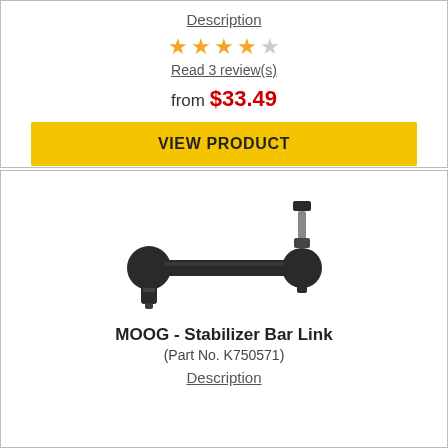Description
[Figure (other): 5 gold stars rating]
Read 3 review(s)
from $33.49
VIEW PRODUCT
[Figure (photo): MOOG Stabilizer Bar Link product photo]
MOOG - Stabilizer Bar Link (Part No. K750571)
Description